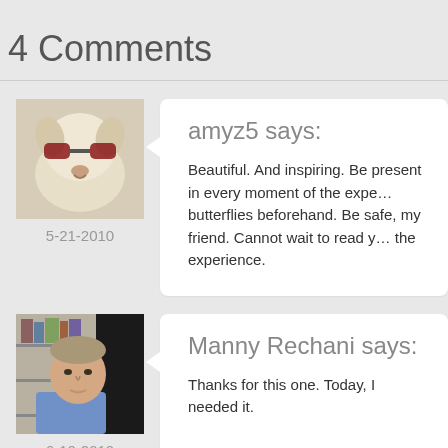4 Comments
amyz5 says:
Beautiful. And inspiring. Be present in every moment of the experience. butterflies beforehand. Be safe, my friend. Cannot wait to read you write about the experience.
5-21-2010
Manny Rechani says:
Thanks for this one. Today, I needed it.
6-10-2010